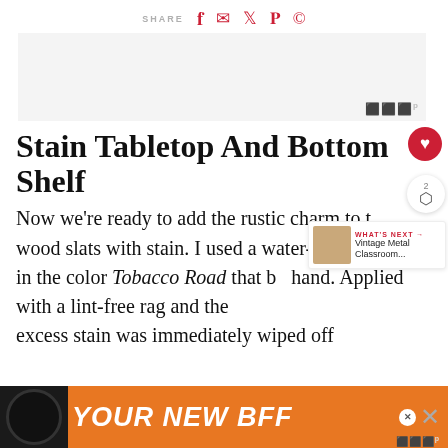SHARE [social icons: facebook, email, twitter, pinterest, whatsapp]
[Figure (other): Light gray advertisement banner placeholder with Wordable logo watermark at bottom right]
Stain Tabletop And Bottom Shelf
Now we're ready to add the rustic charm to t… wood slats with stain. I used a water-based stain in the color Tobacco Road that b… hand. Applied with a lint-free rag and the excess stain was immediately wiped off
[Figure (other): Bottom advertisement banner: orange background with black dog image and text YOUR NEW BFF, with close buttons]
[Figure (other): WHAT'S NEXT panel with thumbnail: Vintage Metal Classroom...]